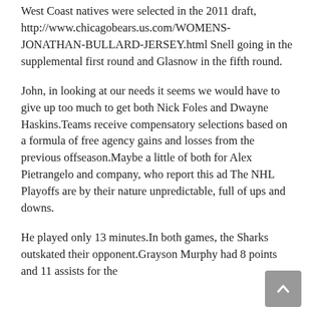West Coast natives were selected in the 2011 draft, http://www.chicagobears.us.com/WOMENS-JONATHAN-BULLARD-JERSEY.html Snell going in the supplemental first round and Glasnow in the fifth round.
John, in looking at our needs it seems we would have to give up too much to get both Nick Foles and Dwayne Haskins.Teams receive compensatory selections based on a formula of free agency gains and losses from the previous offseason.Maybe a little of both for Alex Pietrangelo and company, who report this ad The NHL Playoffs are by their nature unpredictable, full of ups and downs.
He played only 13 minutes.In both games, the Sharks outskated their opponent.Grayson Murphy had 8 points and 11 assists for the